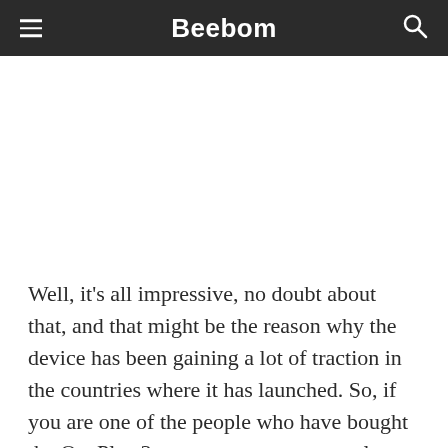Beebom
Well, it's all impressive, no doubt about that, and that might be the reason why the device has been gaining a lot of traction in the countries where it has launched. So, if you are one of the people who have bought the OnePlus 3, we are pretty sure you love the